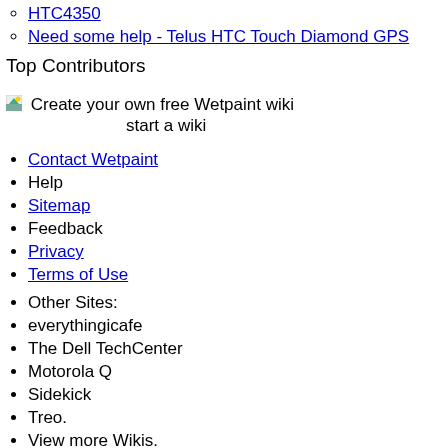HTC4350
Need some help - Telus HTC Touch Diamond GPS
Top Contributors
[Figure (illustration): Small green landscape icon followed by text 'Create your own free Wetpaint wiki' and 'start a wiki']
Contact Wetpaint
Help
Sitemap
Feedback
Privacy
Terms of Use
Other Sites:
everythingicafe
The Dell TechCenter
Motorola Q
Sidekick
Treo.
View more Wikis.